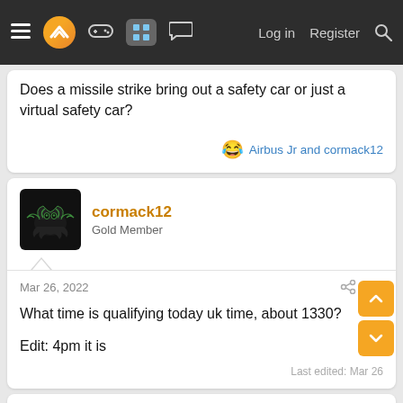Navigation bar with menu, logo, gamepad, grid, chat icons, Log in, Register, Search
Does a missile strike bring out a safety car or just a virtual safety car?
😂 Airbus Jr and cormack12
cormack12
Gold Member
Mar 26, 2022
#49
What time is qualifying today uk time, about 1330?
Edit: 4pm it is
Last edited: Mar 26
cormack12
Gold Member